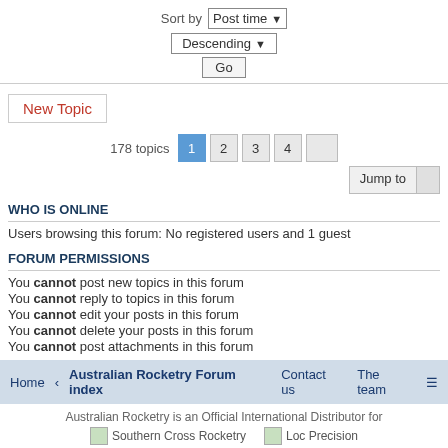Sort by  Post time ▼
Descending ▼
Go
New Topic
178 topics  1  2  3  4  »
Jump to
WHO IS ONLINE
Users browsing this forum: No registered users and 1 guest
FORUM PERMISSIONS
You cannot post new topics in this forum
You cannot reply to topics in this forum
You cannot edit your posts in this forum
You cannot delete your posts in this forum
You cannot post attachments in this forum
Home  ‹  Australian Rocketry Forum index  |  Contact us  |  The team
Australian Rocketry is an Official International Distributor for
Southern Cross Rocketry   Loc Precision